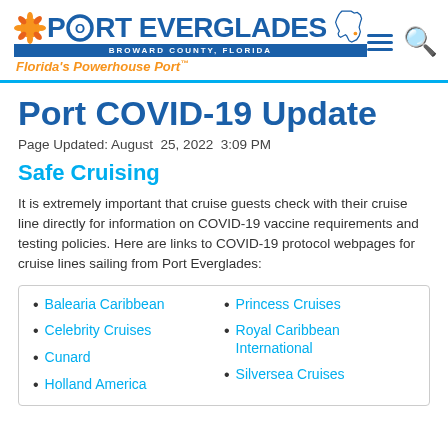PORT EVERGLADES BROWARD COUNTY, FLORIDA — Florida's Powerhouse Port™
Port COVID-19 Update
Page Updated: August  25, 2022  3:09 PM
Safe Cruising
It is extremely important that cruise guests check with their cruise line directly for information on COVID-19 vaccine requirements and testing policies. Here are links to COVID-19 protocol webpages for cruise lines sailing from Port Everglades:
Balearia Caribbean
Celebrity Cruises
Cunard
Holland America
Princess Cruises
Royal Caribbean International
Silversea Cruises